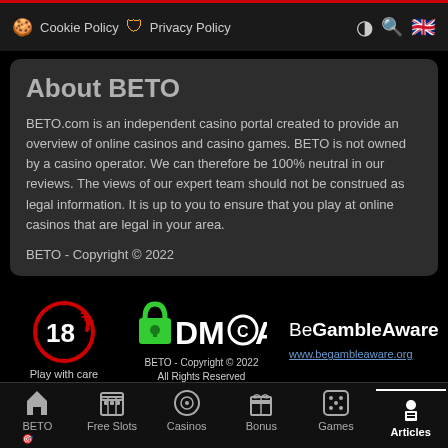Cookie Policy  Privacy Policy
About BETO
BETO.com is an independent casino portal created to provide an overview of online casinos and casino games. BETO is not owned by a casino operator. We can therefore be 100% neutral in our reviews. The views of our expert team should not be construed as legal information. It is up to you to ensure that you play at online casinos that are legal in your area.
BETO - Copyright © 2022
[Figure (logo): 18+ Play with care badge (red circular logo)]
[Figure (logo): DMCA protected logo with green padlock]
BETO - Copyright © 2022
All Rights Reserved
[Figure (logo): BeGambleAware logo with www.begambleaware.org link]
BETO  Free Slots  Casinos  Bonus  Games  Articles